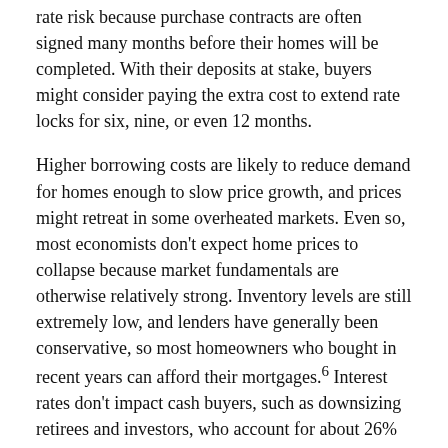rate risk because purchase contracts are often signed many months before their homes will be completed. With their deposits at stake, buyers might consider paying the extra cost to extend rate locks for six, nine, or even 12 months.
Higher borrowing costs are likely to reduce demand for homes enough to slow price growth, and prices might retreat in some overheated markets. Even so, most economists don't expect home prices to collapse because market fundamentals are otherwise relatively strong. Inventory levels are still extremely low, and lenders have generally been conservative, so most homeowners who bought in recent years can afford their mortgages.6 Interest rates don't impact cash buyers, such as downsizing retirees and investors, who account for about 26% of transactions.7 And assuming the economy and employment hold up, there should be plenty of demand from millennials in their peak homebuying years.8
Tips for Bewildered First-Time Buyers
Paying rent indefinitely may do little to improve your